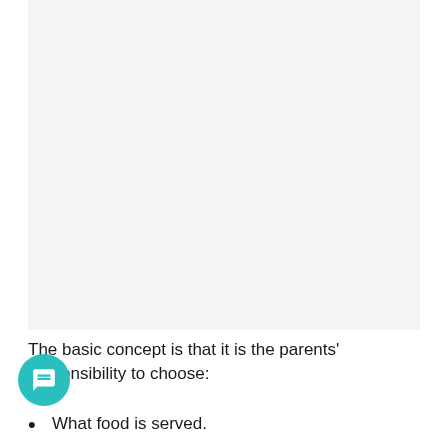[Figure (other): Large blank/white image placeholder occupying the top portion of the page]
The basic concept is that it is the parents' responsibility to choose:
What food is served.